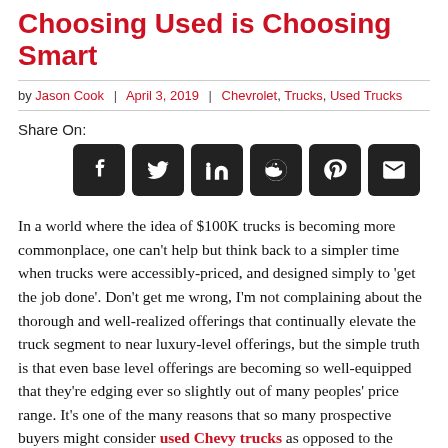Choosing Used is Choosing Smart
by Jason Cook | April 3, 2019 | Chevrolet, Trucks, Used Trucks
Share On:
[Figure (other): Social share icons: Facebook, Twitter, LinkedIn, Reddit, Pinterest, Email]
In a world where the idea of $100K trucks is becoming more commonplace, one can't help but think back to a simpler time when trucks were accessibly-priced, and designed simply to 'get the job done'. Don't get me wrong, I'm not complaining about the thorough and well-realized offerings that continually elevate the truck segment to near luxury-level offerings, but the simple truth is that even base level offerings are becoming so well-equipped that they're edging ever so slightly out of many peoples' price range. It's one of the many reasons that so many prospective buyers might consider used Chevy trucks as opposed to the newest models of either the Silverado or Colorado.